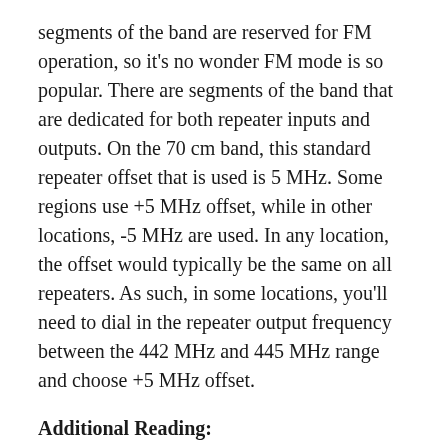segments of the band are reserved for FM operation, so it's no wonder FM mode is so popular. There are segments of the band that are dedicated for both repeater inputs and outputs. On the 70 cm band, this standard repeater offset that is used is 5 MHz. Some regions use +5 MHz offset, while in other locations, -5 MHz are used. In any location, the offset would typically be the same on all repeaters. As such, in some locations, you'll need to dial in the repeater output frequency between the 442 MHz and 445 MHz range and choose +5 MHz offset.
Additional Reading: